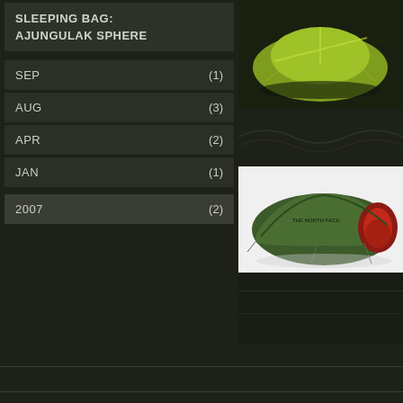SLEEPING BAG:
AJUNGULAK SPHERE
SEP (1)
AUG (3)
APR (2)
JAN (1)
2007 (2)
[Figure (photo): Yellow-green dome tent (The North Face) seen from above/front on dark background]
[Figure (photo): Green tunnel tent with red interior visible through open door on white background]